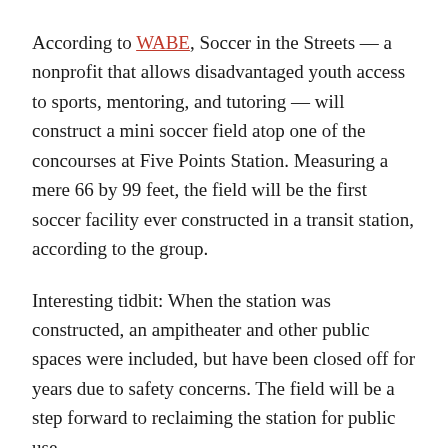According to WABE, Soccer in the Streets — a nonprofit that allows disadvantaged youth access to sports, mentoring, and tutoring — will construct a mini soccer field atop one of the concourses at Five Points Station. Measuring a mere 66 by 99 feet, the field will be the first soccer facility ever constructed in a transit station, according to the group.
Interesting tidbit: When the station was constructed, an ampitheater and other public spaces were included, but have been closed off for years due to safety concerns. The field will be a step forward to reclaiming the station for public use.
Plans call for the field to remain for at least five years.